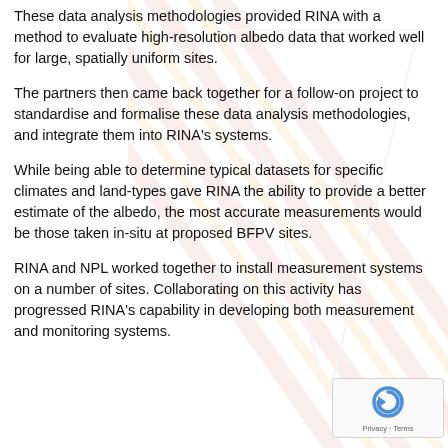These data analysis methodologies provided RINA with a method to evaluate high-resolution albedo data that worked well for large, spatially uniform sites.
The partners then came back together for a follow-on project to standardise and formalise these data analysis methodologies, and integrate them into RINA's systems.
While being able to determine typical datasets for specific climates and land-types gave RINA the ability to provide a better estimate of the albedo, the most accurate measurements would be those taken in-situ at proposed BFPV sites.
RINA and NPL worked together to install measurement systems on a number of sites. Collaborating on this activity has progressed RINA's capability in developing both measurement and monitoring systems.